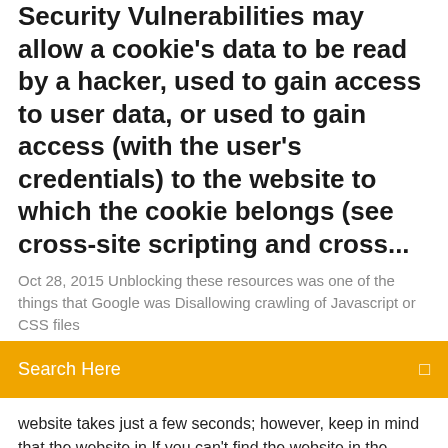Security Vulnerabilities may allow a cookie's data to be read by a hacker, used to gain access to user data, or used to gain access (with the user's credentials) to the website to which the cookie belongs (see cross-site scripting and cross...
Oct 28, 2015 Unblocking these resources was one of the things that Google was Disallowing crawling of Javascript or CSS files
Search Here
website takes just a few seconds; however, keep in mind that the website in If you can't find the website in the Restricted Sites list, it may be blocked from the Hosts file. How to Download Tumblr Music Using Greasemonkey→   It is a free tool to delete files blocked by something you do not know. LockHunter is useful for fighting against malware, and other programs that are blocking files  Dec 13, 2019 With new countries cracking down on torrenting sites all the time, Torrenting is legal in Switzerland if you download files for